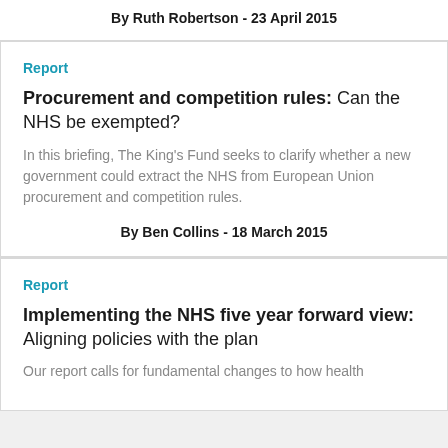By Ruth Robertson - 23 April 2015
Report
Procurement and competition rules: Can the NHS be exempted?
In this briefing, The King's Fund seeks to clarify whether a new government could extract the NHS from European Union procurement and competition rules.
By Ben Collins - 18 March 2015
Report
Implementing the NHS five year forward view: Aligning policies with the plan
Our report calls for fundamental changes to how health